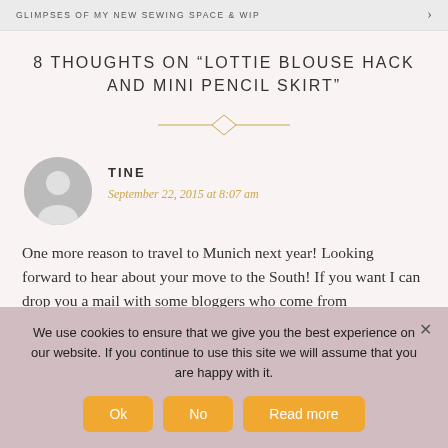GLIMPSES OF MY NEW SEWING SPACE & WIP →
8 THOUGHTS ON "LOTTIE BLOUSE HACK AND MINI PENCIL SKIRT"
TINE
September 22, 2015 at 8:07 am
One more reason to travel to Munich next year! Looking forward to hear about your move to the South! If you want I can drop you a mail with some bloggers who come from
We use cookies to ensure that we give you the best experience on our website. If you continue to use this site we will assume that you are happy with it.